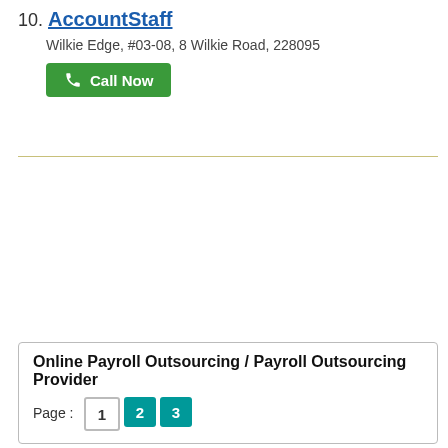10. AccountStaff
Wilkie Edge, #03-08, 8 Wilkie Road, 228095
Call Now
Online Payroll Outsourcing / Payroll Outsourcing Provider
Page : 1 2 3